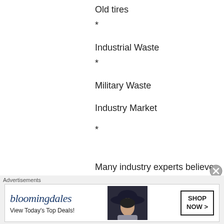Old tires
*
Industrial Waste
*
Military Waste
Industry Market
*
Many industry experts believe that energy-from-waste technology is the most viable and sustainable alternative to resolving worldwide issues on electric power capacity and
Advertisements
[Figure (other): Bloomingdale's advertisement banner with logo, tagline 'View Today's Top Deals!', fashion photo of woman in hat, and 'SHOP NOW >' button]